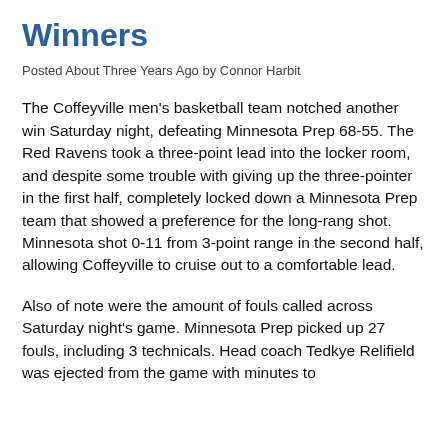Winners
Posted About Three Years Ago by Connor Harbit
The Coffeyville men's basketball team notched another win Saturday night, defeating Minnesota Prep 68-55. The Red Ravens took a three-point lead into the locker room, and despite some trouble with giving up the three-pointer in the first half, completely locked down a Minnesota Prep team that showed a preference for the long-rang shot. Minnesota shot 0-11 from 3-point range in the second half, allowing Coffeyville to cruise out to a comfortable lead.
Also of note were the amount of fouls called across Saturday night's game. Minnesota Prep picked up 27 fouls, including 3 technicals. Head coach Tedkye Relifield was ejected from the game with minutes to